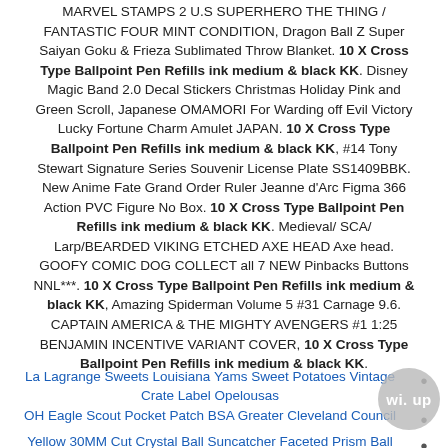MARVEL STAMPS 2 U.S SUPERHERO THE THING / FANTASTIC FOUR MINT CONDITION, Dragon Ball Z Super Saiyan Goku & Frieza Sublimated Throw Blanket. 10 X Cross Type Ballpoint Pen Refills ink medium & black KK. Disney Magic Band 2.0 Decal Stickers Christmas Holiday Pink and Green Scroll, Japanese OMAMORI For Warding off Evil Victory Lucky Fortune Charm Amulet JAPAN. 10 X Cross Type Ballpoint Pen Refills ink medium & black KK, #14 Tony Stewart Signature Series Souvenir License Plate SS1409BBK. New Anime Fate Grand Order Ruler Jeanne d'Arc Figma 366 Action PVC Figure No Box. 10 X Cross Type Ballpoint Pen Refills ink medium & black KK. Medieval/ SCA/ Larp/BEARDED VIKING ETCHED AXE HEAD Axe head. GOOFY COMIC DOG COLLECT all 7 NEW Pinbacks Buttons NNL***. 10 X Cross Type Ballpoint Pen Refills ink medium & black KK, Amazing Spiderman Volume 5 #31 Carnage 9.6. CAPTAIN AMERICA & THE MIGHTY AVENGERS #1 1:25 BENJAMIN INCENTIVE VARIANT COVER, 10 X Cross Type Ballpoint Pen Refills ink medium & black KK.
La Lagrange Sweets Louisiana Yams Sweet Potatoes Vintage Crate Label Opelousas
OH Eagle Scout Pocket Patch BSA Greater Cleveland Council
Yellow 30MM Cut Crystal Ball Suncatcher Faceted Prism Ball